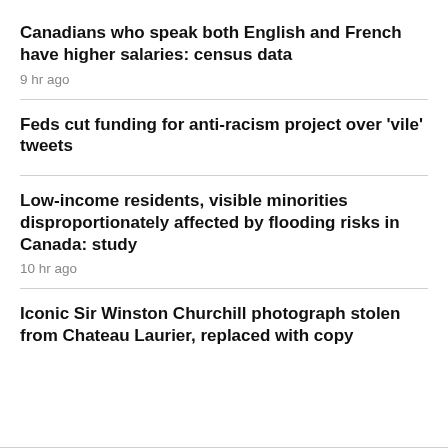Canadians who speak both English and French have higher salaries: census data
9 hr ago
Feds cut funding for anti-racism project over 'vile' tweets
Low-income residents, visible minorities disproportionately affected by flooding risks in Canada: study
10 hr ago
Iconic Sir Winston Churchill photograph stolen from Chateau Laurier, replaced with copy